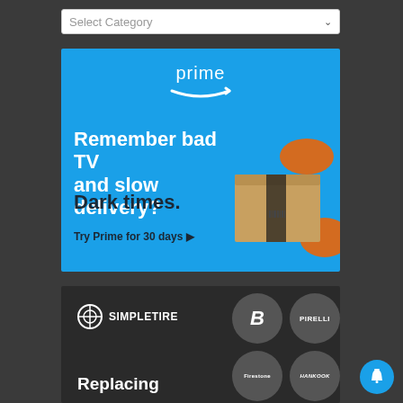Select Category
[Figure (screenshot): Amazon Prime advertisement with blue background. Text reads: 'Remember bad TV and slow delivery? Dark times. Try Prime for 30 days ▶'. Shows Amazon Prime logo and a product image of boxes with orange packaging.]
[Figure (screenshot): SimpleTire advertisement with dark background showing SimpleTire logo, Bridgestone logo circle, Pirelli logo circle, Firestone logo circle, Hankook logo circle, and partial text 'Replacing'.]
[Figure (screenshot): Blue notification bell button in bottom right corner.]